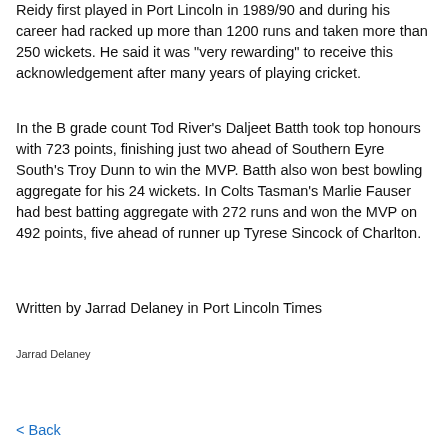Reidy first played in Port Lincoln in 1989/90 and during his career had racked up more than 1200 runs and taken more than 250 wickets. He said it was "very rewarding" to receive this acknowledgement after many years of playing cricket.
In the B grade count Tod River's Daljeet Batth took top honours with 723 points, finishing just two ahead of Southern Eyre South's Troy Dunn to win the MVP. Batth also won best bowling aggregate for his 24 wickets. In Colts Tasman's Marlie Fauser had best batting aggregate with 272 runs and won the MVP on 492 points, five ahead of runner up Tyrese Sincock of Charlton.
Written by Jarrad Delaney in Port Lincoln Times
Jarrad Delaney
< Back